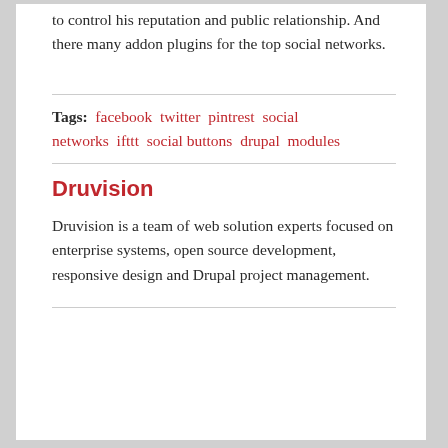to control his reputation and public relationship. And there many addon plugins for the top social networks.
Tags: facebook twitter pintrest social networks ifttt social buttons drupal modules
Druvision
Druvision is a team of web solution experts focused on enterprise systems, open source development, responsive design and Drupal project management.